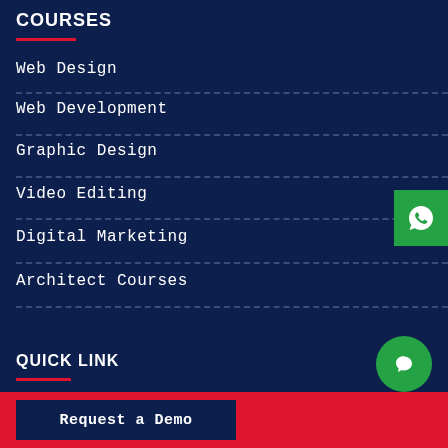COURSES
Web Design
Web Development
Graphic Design
Video Editing
Digital Marketing
Architect Courses
QUICK LINK
About
[Figure (logo): WhatsApp icon on green background, positioned on the right side]
[Figure (logo): Chat bubble icon on green circle, bottom right]
Request a Demo